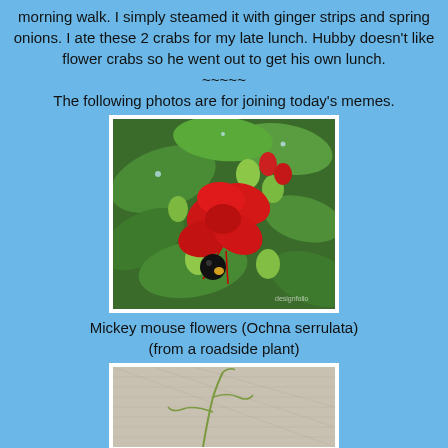morning walk. I simply steamed it with ginger strips and spring onions. I ate these 2 crabs for my late lunch. Hubby doesn't like flower crabs so he went out to get his own lunch.
~~~~~
The following photos are for joining today's memes.
[Figure (photo): Close-up photo of Mickey mouse flowers (Ochna serrulata) showing red petals, green buds, and a black berry, surrounded by green leaves with water droplets]
Mickey mouse flowers (Ochna serrulata)
(from a roadside plant)
[Figure (photo): Partial photo showing what appears to be a plant or lizard on a textured light background]